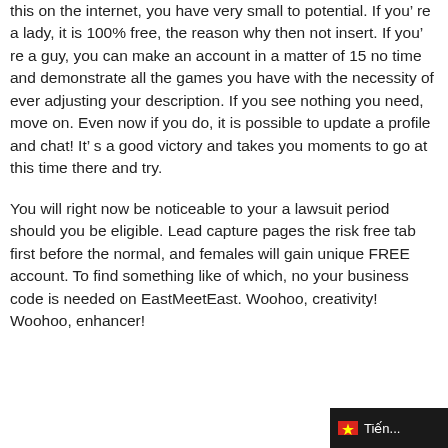this on the internet, you have very small to potential. If you're a lady, it is 100% free, the reason why then not insert. If you're a guy, you can make an account in a matter of 15 no time and demonstrate all the games you have with the necessity of ever adjusting your description. If you see nothing you need, move on. Even now if you do, it is possible to update a profile and chat! It's a good victory and takes you moments to go at this time there and try.
You will right now be noticeable to your a lawsuit period should you be eligible. Lead capture pages the risk free tab first before the normal, and females will gain unique FREE account. To find something like of which, no your business code is needed on EastMeetEast. Woohoo, creativity! Woohoo, enhancer!
Tiến...